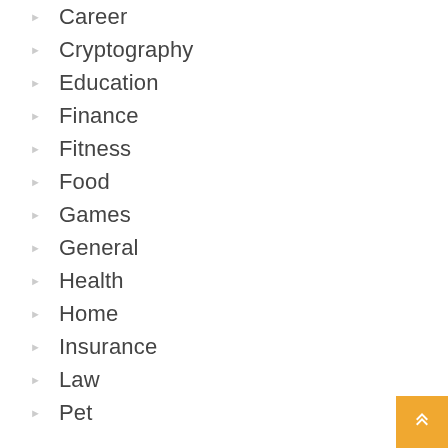Career
Cryptography
Education
Finance
Fitness
Food
Games
General
Health
Home
Insurance
Law
Pet